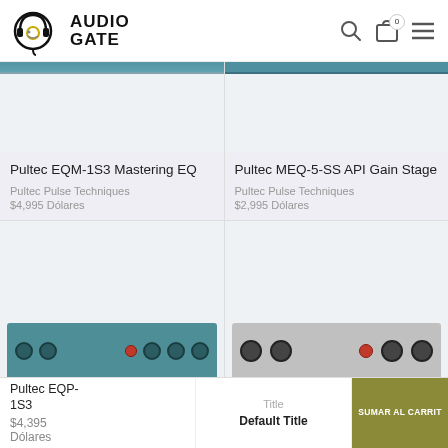AudioGate - Logo and navigation
[Figure (screenshot): Pultec EQM-1S3 Mastering EQ product image - teal rack unit top strip]
Pultec EQM-1S3 Mastering EQ
Pultec Pulse Techniques
$4,995 Dólares
[Figure (screenshot): Pultec MEQ-5-SS API Gain Stage product image - teal rack unit top strip]
Pultec MEQ-5-SS API Gain Stage
Pultec Pulse Techniques
$2,995 Dólares
[Figure (photo): Pultec EQP-1S3 product image - teal rack unit with knobs]
[Figure (photo): Second product bottom row - gray rack unit with knobs]
Pultec EQP-1S3
$4,395 Dólares
Title
Default Title
SUMAR AL CARRIT